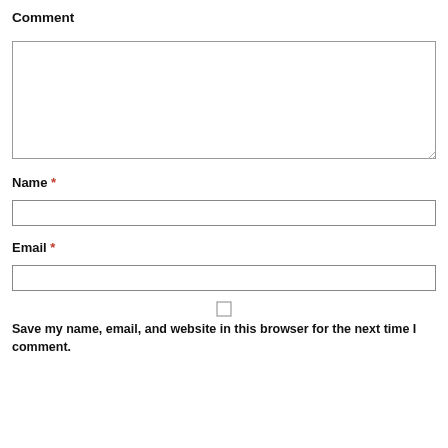Comment
[Figure (screenshot): Empty textarea input box for comment with resize handle at bottom right]
Name *
[Figure (screenshot): Empty single-line text input box for Name]
Email *
[Figure (screenshot): Empty single-line text input box for Email]
[Figure (screenshot): Checkbox (unchecked) for saving name, email, and website]
Save my name, email, and website in this browser for the next time I comment.